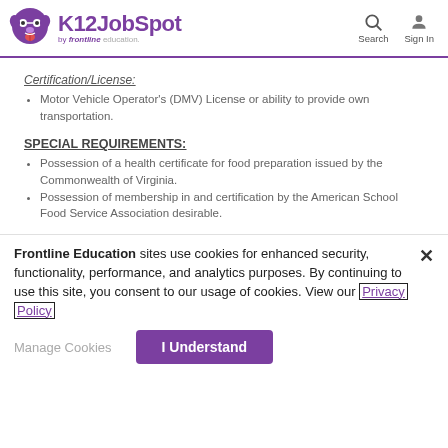K12JobSpot by frontline education. Search Sign In
Certification/License:
Motor Vehicle Operator's (DMV) License or ability to provide own transportation.
SPECIAL REQUIREMENTS:
Possession of a health certificate for food preparation issued by the Commonwealth of Virginia.
Possession of membership in and certification by the American School Food Service Association desirable.
Frontline Education sites use cookies for enhanced security, functionality, performance, and analytics purposes. By continuing to use this site, you consent to our usage of cookies. View our Privacy Policy
Manage Cookies   I Understand